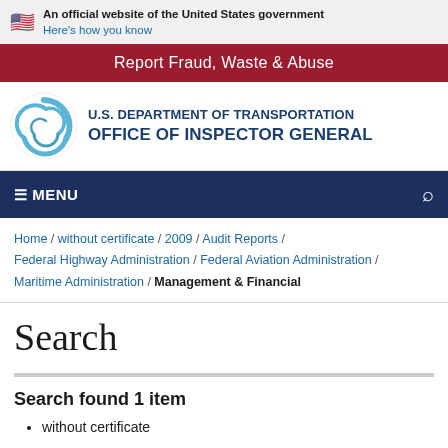An official website of the United States government
Here's how you know
Report Fraud, Waste & Abuse
[Figure (logo): U.S. Department of Transportation Office of Inspector General logo with circular swirl emblem]
≡ MENU
Home / without certificate / 2009 / Audit Reports / Federal Highway Administration / Federal Aviation Administration / Maritime Administration / Management & Financial
Search
Search found 1 item
without certificate